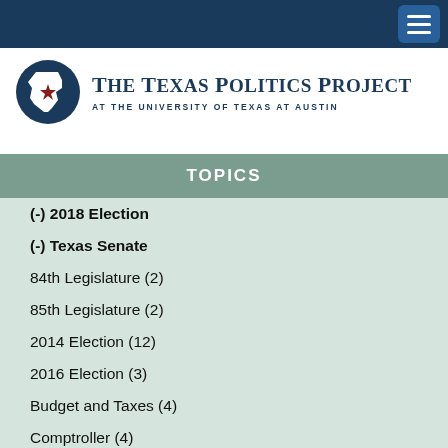[Figure (logo): The Texas Politics Project at the University of Texas at Austin logo with Texas outline and star icon]
TOPICS
(-) 2018 Election
(-) Texas Senate
84th Legislature (2)
85th Legislature (2)
2014 Election (12)
2016 Election (3)
Budget and Taxes (4)
Comptroller (4)
Concealed Carry (2)
Democratic Party (4)